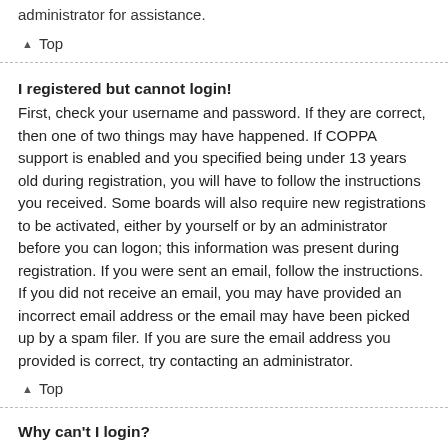administrator for assistance.
↑ Top
I registered but cannot login!
First, check your username and password. If they are correct, then one of two things may have happened. If COPPA support is enabled and you specified being under 13 years old during registration, you will have to follow the instructions you received. Some boards will also require new registrations to be activated, either by yourself or by an administrator before you can logon; this information was present during registration. If you were sent an email, follow the instructions. If you did not receive an email, you may have provided an incorrect email address or the email may have been picked up by a spam filer. If you are sure the email address you provided is correct, try contacting an administrator.
↑ Top
Why can't I login?
There are several reasons why this could occur. First, ensure your username and password are correct. If they are, contact